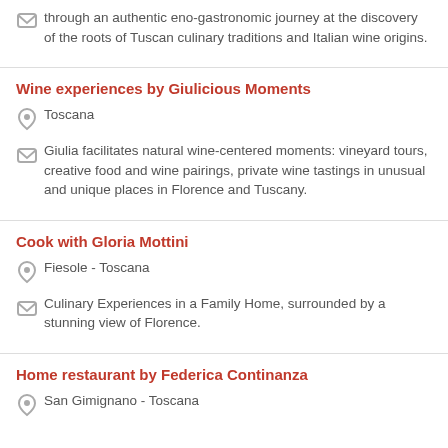through an authentic eno-gastronomic journey at the discovery of the roots of Tuscan culinary traditions and Italian wine origins.
Wine experiences by Giulicious Moments
Toscana
Giulia facilitates natural wine-centered moments: vineyard tours, creative food and wine pairings, private wine tastings in unusual and unique places in Florence and Tuscany.
Cook with Gloria Mottini
Fiesole - Toscana
Culinary Experiences in a Family Home, surrounded by a stunning view of Florence.
Home restaurant by Federica Continanza
San Gimignano - Toscana